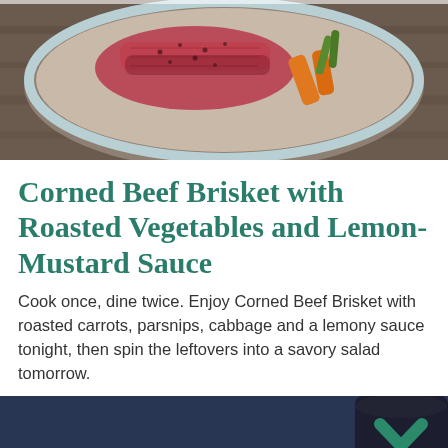[Figure (photo): A bowl with sliced corned beef brisket and roasted vegetables including carrots on a wooden surface, viewed from above.]
Corned Beef Brisket with Roasted Vegetables and Lemon-Mustard Sauce
Cook once, dine twice. Enjoy Corned Beef Brisket with roasted carrots, parsnips, cabbage and a lemony sauce tonight, then spin the leftovers into a savory salad tomorrow.
[Figure (photo): A burger or sandwich with lettuce on a dark blue surface, with a dark cup in the background and a teal upward chevron icon overlay.]